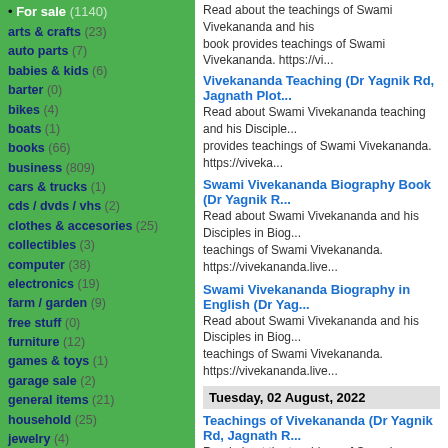For sale (1140)
arts & crafts (23)
auto parts (7)
babies & kids (6)
barter (0)
bikes (4)
boats (1)
books (66)
business (809)
cars & trucks (1)
cds / dvds / vhs (2)
clothes & accesories (25)
collectibles (3)
computer (38)
electronics (19)
farm / garden (9)
free stuff (0)
furniture (12)
games & toys (1)
garage sale (2)
general items (21)
household (25)
jewelry (4)
material (24)
motorcycles (0)
music instruments (0)
photo / video (4)
rvs (1)
sporting (0)
tickets (0)
tools (32)
wanted (1)
Read about the teachings of Swami Vivekananda and his book provides teachings of Swami Vivekananda. https://vi...
Vivekananda Teaching (Dr Yagnik Rd, Jagnath Plot...) Read about Swami Vivekananda teaching and his Disciples provides teachings of Swami Vivekananda. https://viveka...
Swami Vivekananda Biography Book (Dr Yagnik R...) Read about Swami Vivekananda and his Disciples in Biog... teachings of Swami Vivekananda. https://vivekananda.live...
Swami Vivekananda Biography in English (Dr Yag...) Read about Swami Vivekananda and his Disciples in Biog... teachings of Swami Vivekananda. https://vivekananda.live...
Tuesday, 02 August, 2022
Teachings of Vivekananda (Dr Yagnik Rd, Jagnath R...) Read about the teachings of Swami Vivekananda and his D... book provides teachings of Swami Vivekananda. https://vi...
Vivekananda Teaching (Dr Yagnik Rd, Jagnath Plot...) Read about Swami Vivekananda teaching and his Disciples provides teachings of Swami Vivekananda. https://viveka...
Swami Vivekananda Biography Book (Dr Yagnik R...) Read about Swami Vivekananda and his Disciples in Biog... teachings of Swami Vivekananda. https://vivekananda.live...
Swami Vivekananda Biography in English (Dr Yag...) Read about Swami Vivekananda and his Disciples in Biog... teachings of Swami Vivekananda. https://vivekananda.live...
Monday, 11 July, 2022
Teachings of Vivekananda (Dr Yagnik Rd, Jagnath Plot...) Read about the teachings of Swami Vivekananda and his D... book provides teachings of Swami Vivekananda. https://...
Vivekananda Teaching (Dr Yagnik Rd, Jagnath Plot...